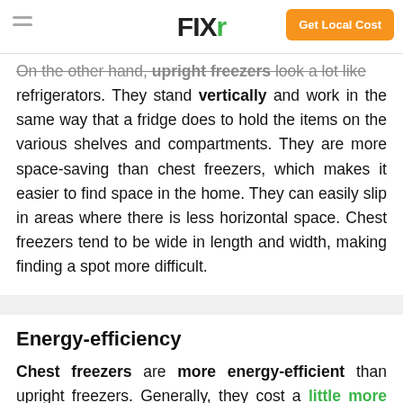FIXR — Get Local Cost
On the other hand, upright freezers look a lot like refrigerators. They stand vertically and work in the same way that a fridge does to hold the items on the various shelves and compartments. They are more space-saving than chest freezers, which makes it easier to find space in the home. They can easily slip in areas where there is less horizontal space. Chest freezers tend to be wide in length and width, making finding a spot more difficult.
Energy-efficiency
Chest freezers are more energy-efficient than upright freezers. Generally, they cost a little more than $4 a month to run when divided. Upright freezers cost around $11 a month to run. Both...